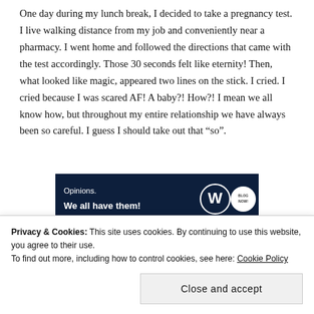One day during my lunch break, I decided to take a pregnancy test. I live walking distance from my job and conveniently near a pharmacy. I went home and followed the directions that came with the test accordingly. Those 30 seconds felt like eternity! Then, what looked like magic, appeared two lines on the stick. I cried. I cried because I was scared AF! A baby?! How?! I mean we all know how, but throughout my entire relationship we have always been so careful. I guess I should take out that “so”.
[Figure (other): Advertisement banner: dark navy background with text 'Opinions. We all have them!' in white, WordPress logo (W in circle) and a round blog logo on the right.]
Privacy & Cookies: This site uses cookies. By continuing to use this website, you agree to their use. To find out more, including how to control cookies, see here: Cookie Policy
Close and accept